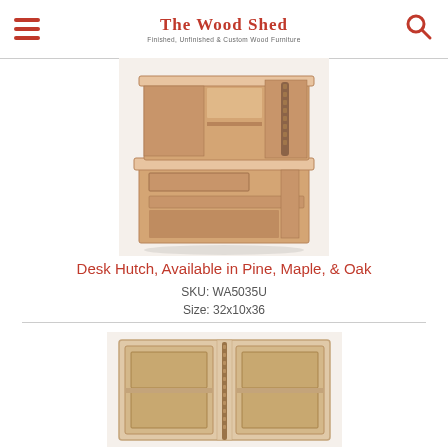The Wood Shed — Finished, Unfinished & Custom Wood Furniture
[Figure (photo): Wooden desk hutch with shelves and a pull-out keyboard tray, shown in unfinished pine/oak wood]
Desk Hutch, Available in Pine, Maple, & Oak
SKU: WA5035U
Size: 32x10x36
[Figure (photo): Wooden dresser or headboard with panel doors, shown in unfinished light wood]